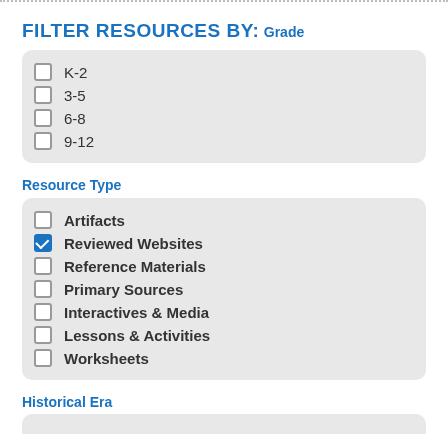FILTER RESOURCES BY:
Grade
K-2
3-5
6-8
9-12
Resource Type
Artifacts
Reviewed Websites (checked)
Reference Materials
Primary Sources
Interactives & Media
Lessons & Activities
Worksheets
Historical Era